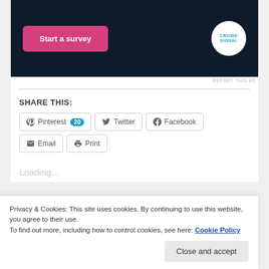[Figure (screenshot): Dark navy advertisement banner with a pink 'Start a survey' button on the left and a white circular logo reading 'CROWDSIGNAL' on the right.]
REPORT THIS AD
SHARE THIS:
Pinterest 20 | Twitter | Facebook | Email | Print
Loading...
Privacy & Cookies: This site uses cookies. By continuing to use this website, you agree to their use.
To find out more, including how to control cookies, see here: Cookie Policy
Close and accept